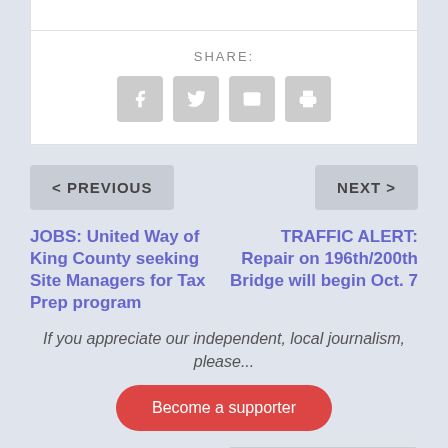SHARE:
[Figure (other): Social share icons: Facebook, Twitter, Email, Print]
< PREVIOUS
NEXT >
JOBS: United Way of King County seeking Site Managers for Tax Prep program
TRAFFIC ALERT: Repair on 196th/200th Bridge will begin Oct. 7
If you appreciate our independent, local journalism, please...
Become a supporter
Leave a reply
English